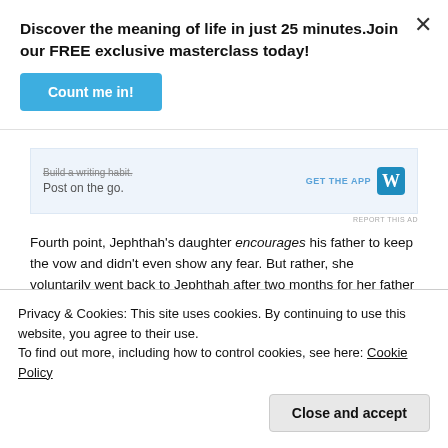Discover the meaning of life in just 25 minutes.Join our FREE exclusive masterclass today!
[Figure (screenshot): Blue 'Count me in!' call-to-action button]
[Figure (screenshot): WordPress ad banner: 'Build a writing habit. Post on the go.' with GET THE APP and WordPress logo, REPORT THIS AD link]
Fourth point, Jephthah's daughter encourages his father to keep the vow and didn't even show any fear. But rather, she voluntarily went back to Jephthah after two months for her father to keep the vow (Judges 11:36).
Privacy & Cookies: This site uses cookies. By continuing to use this website, you agree to their use.
To find out more, including how to control cookies, see here: Cookie Policy
Close and accept